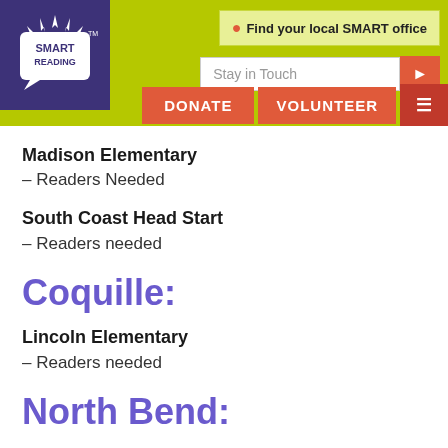[Figure (logo): SMART Reading logo: white open book with rays on top, text SMART READING inside a speech bubble shape, on purple background]
Find your local SMART office | Stay in Touch | DONATE | VOLUNTEER
Madison Elementary – Readers Needed
South Coast Head Start – Readers needed
Coquille:
Lincoln Elementary – Readers needed
North Bend: